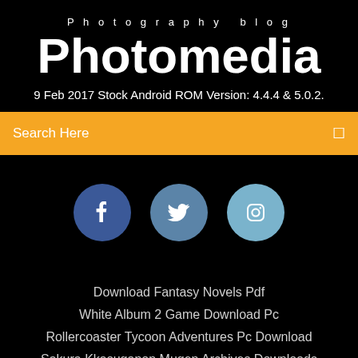Photography blog
Photomedia
9 Feb 2017 Stock Android ROM Version: 4.4.4 & 5.0.2.
Search Here
[Figure (infographic): Three social media icon circles: Facebook (dark blue), Twitter (medium blue), Instagram (light blue)]
Download Fantasy Novels Pdf
White Album 2 Game Download Pc
Rollercoaster Tycoon Adventures Pc Download
Sakura Kkasuganon Mugen Archives Downloads